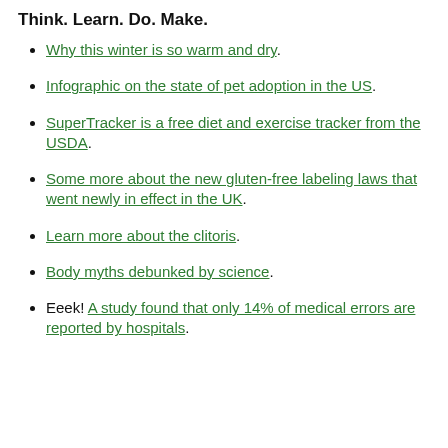Think. Learn. Do. Make.
Why this winter is so warm and dry.
Infographic on the state of pet adoption in the US.
SuperTracker is a free diet and exercise tracker from the USDA.
Some more about the new gluten-free labeling laws that went newly in effect in the UK.
Learn more about the clitoris.
Body myths debunked by science.
Eeek! A study found that only 14% of medical errors are reported by hospitals.